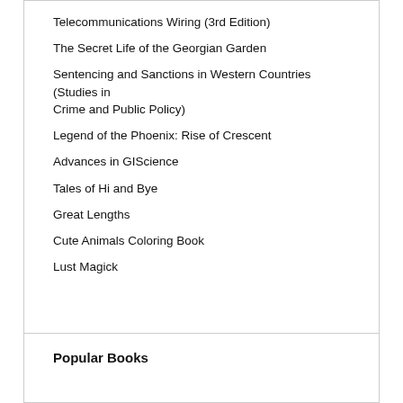Telecommunications Wiring (3rd Edition)
The Secret Life of the Georgian Garden
Sentencing and Sanctions in Western Countries (Studies in Crime and Public Policy)
Legend of the Phoenix: Rise of Crescent
Advances in GIScience
Tales of Hi and Bye
Great Lengths
Cute Animals Coloring Book
Lust Magick
Popular Books